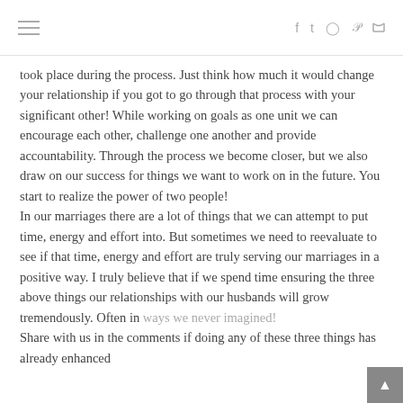[hamburger menu] [social icons: f, t, instagram, p, rss]
took place during the process. Just think how much it would change your relationship if you got to go through that process with your significant other! While working on goals as one unit we can encourage each other, challenge one another and provide accountability. Through the process we become closer, but we also draw on our success for things we want to work on in the future. You start to realize the power of two people! In our marriages there are a lot of things that we can attempt to put time, energy and effort into. But sometimes we need to reevaluate to see if that time, energy and effort are truly serving our marriages in a positive way. I truly believe that if we spend time ensuring the three above things our relationships with our husbands will grow tremendously. Often in ways we never imagined! Share with us in the comments if doing any of these three things has already enhanced...